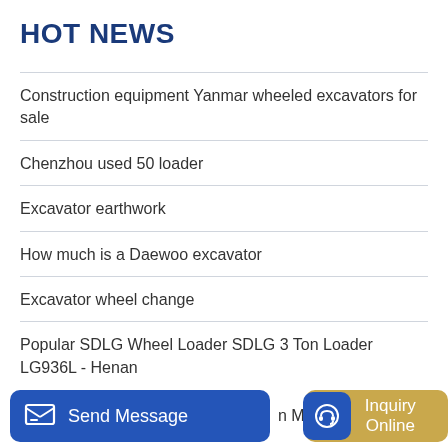HOT NEWS
Construction equipment Yanmar wheeled excavators for sale
Chenzhou used 50 loader
Excavator earthwork
How much is a Daewoo excavator
Excavator wheel change
Popular SDLG Wheel Loader SDLG 3 Ton Loader LG936L - Henan
Send Message   n M   Inquiry Online